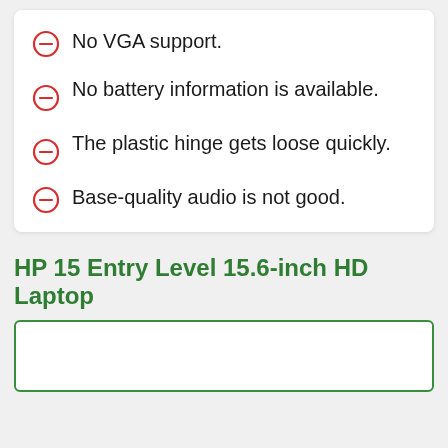No VGA support.
No battery information is available.
The plastic hinge gets loose quickly.
Base-quality audio is not good.
HP 15 Entry Level 15.6-inch HD Laptop
[Figure (photo): Bottom portion of a product image card with green border, partially visible]